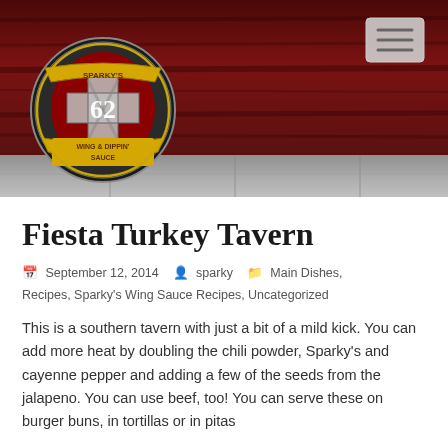[Figure (logo): Sparky's 62 Wing & Dippin' Sauce logo — circular badge with firefighter axe emblem, gold banner, red and black colors, on dark wood background header]
Fiesta Turkey Tavern
September 12, 2014  sparky  Main Dishes, Recipes, Sparky's Wing Sauce Recipes, Uncategorized
This is a southern tavern with just a bit of a mild kick. You can add more heat by doubling the chili powder, Sparky's and cayenne pepper and adding a few of the seeds from the jalapeno. You can use beef, too! You can serve these on burger buns, in tortillas or in pitas